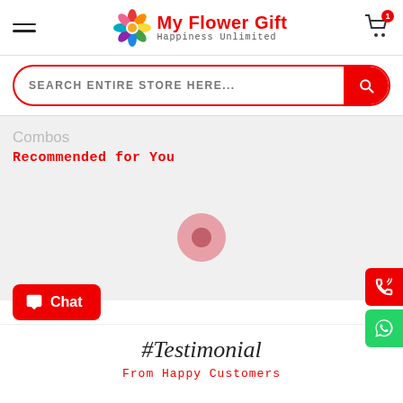My Flower Gift — Happiness Unlimited
SEARCH ENTIRE STORE HERE...
Combos
Recommended for You
[Figure (other): Loading spinner / pink circle indicating content is loading]
Chat
#Testimonial
From Happy Customers